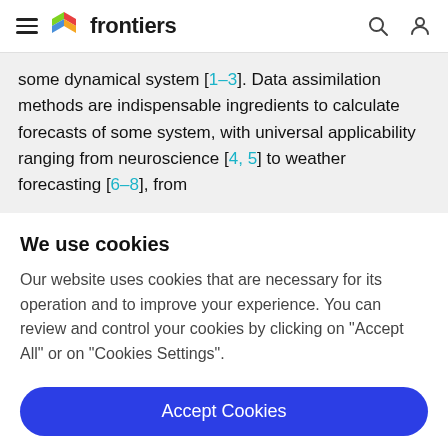frontiers
some dynamical system [1–3]. Data assimilation methods are indispensable ingredients to calculate forecasts of some system, with universal applicability ranging from neuroscience [4, 5] to weather forecasting [6–8], from
We use cookies
Our website uses cookies that are necessary for its operation and to improve your experience. You can review and control your cookies by clicking on "Accept All" or on "Cookies Settings".
Accept Cookies
Cookies Settings